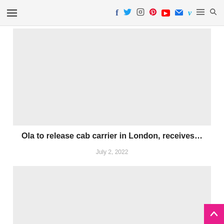Navigation bar with hamburger menu, social icons (Facebook, Twitter, Instagram, Pinterest, YouTube, Mail, Vimeo), menu, and search
[Figure (photo): Gray placeholder image rectangle, top of article]
Ola to release cab carrier in London, receives…
July 2, 2022
[Figure (photo): Gray placeholder image rectangle, second article preview]